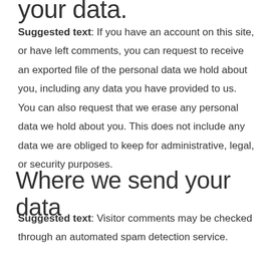Suggested text: If you have an account on this site, or have left comments, you can request to receive an exported file of the personal data we hold about you, including any data you have provided to us. You can also request that we erase any personal data we hold about you. This does not include any data we are obliged to keep for administrative, legal, or security purposes.
Where we send your data
Suggested text: Visitor comments may be checked through an automated spam detection service.